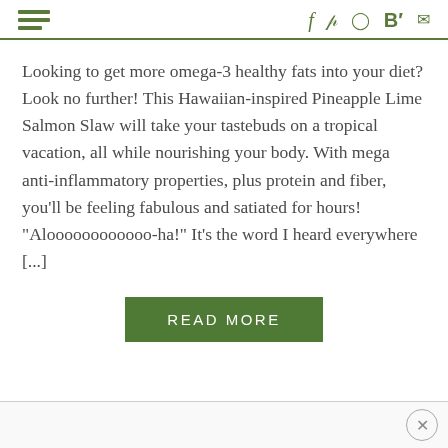Menu | social icons: f p Instagram B' email
Looking to get more omega-3 healthy fats into your diet? Look no further! This Hawaiian-inspired Pineapple Lime Salmon Slaw will take your tastebuds on a tropical vacation, all while nourishing your body. With mega anti-inflammatory properties, plus protein and fiber, you'll be feeling fabulous and satiated for hours! “Aloooooooooooo-ha!” It’s the word I heard everywhere [...]
READ MORE
×